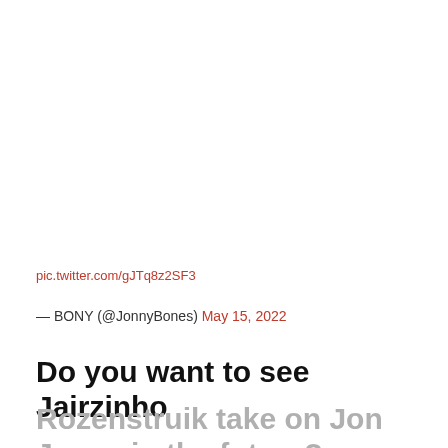pic.twitter.com/gJTq8z2SF3
— BONY (@JonnyBones) May 15, 2022
Do you want to see Jairzinho Rozenstruik take on Jon Jones in the future?